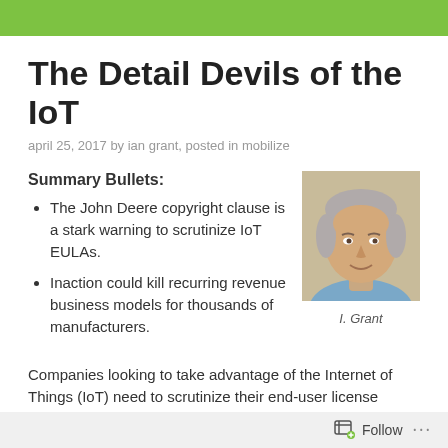The Detail Devils of the IoT
april 25, 2017 by ian grant, posted in mobilize
Summary Bullets:
The John Deere copyright clause is a stark warning to scrutinize IoT EULAs.
Inaction could kill recurring revenue business models for thousands of manufacturers.
[Figure (photo): Headshot of I. Grant, middle-aged man with grey hair, wearing a blue shirt, smiling]
I. Grant
Companies looking to take advantage of the Internet of Things (IoT) need to scrutinize their end-user license agreements (EULAs). This follows an attempt by tractor